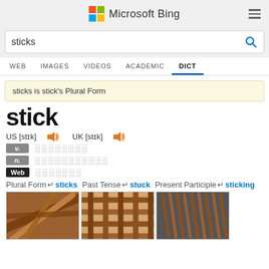Microsoft Bing
sticks
WEB  IMAGES  VIDEOS  ACADEMIC  DICT
sticks is stick's Plural Form
stick
US [stɪk]  UK [stɪk]
v.
n.
Web
Plural Form→sticks  Past Tense→stuck  Present Participle→sticking
[Figure (photo): Three photos of sticks: bundled twigs, woven sticks in a grid pattern, and a bundle of thin sticks]